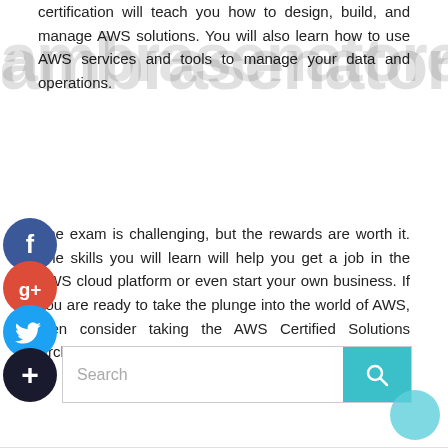certification will teach you how to design, build, and manage AWS solutions. You will also learn how to use AWS services and tools to manage your data and operations.
The exam is challenging, but the rewards are worth it. The skills you will learn will help you get a job in the AWS cloud platform or even start your own business. If you are ready to take the plunge into the world of AWS, then consider taking the AWS Certified Solutions Architect Associate certification.
[Figure (other): Social share buttons: Facebook (blue circle with f), Google+ (red circle with g+), Twitter (blue circle with bird icon), Plus/share (dark circle with + icon)]
[Figure (other): Search bar with teal search button icon and a teal decorative circle in the bottom right corner]